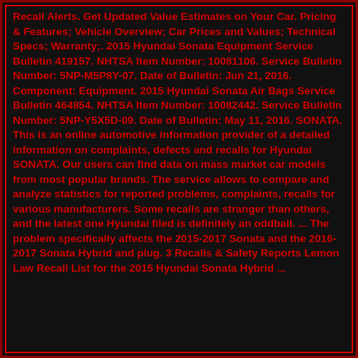Recall Alerts. Get Updated Value Estimates on Your Car. Pricing & Features; Vehicle Overview; Car Prices and Values; Technical Specs; Warranty;. 2015 Hyundai Sonata Equipment Service Bulletin 419157. NHTSA Item Number: 10081106. Service Bulletin Number: 5NP-M5P8Y-07. Date of Bulletin: Jun 21, 2016. Component: Equipment. 2015 Hyundai Sonata Air Bags Service Bulletin 464854. NHTSA Item Number: 10082442. Service Bulletin Number: 5NP-Y5X5D-09. Date of Bulletin: May 11, 2016. SONATA. This is an online automotive information provider of a detailed information on complaints, defects and recalls for Hyundai SONATA. Our users can find data on mass market car models from most popular brands. The service allows to compare and analyze statistics for reported problems, complaints, recalls for various manufacturers. Some recalls are stranger than others, and the latest one Hyundai filed is definitely an oddball. ... The problem specifically affects the 2015-2017 Sonata and the 2016-2017 Sonata Hybrid and plug. 3 Recalls & Safety Reports Lemon Law Recall List for the 2015 Hyundai Sonata Hybrid ...